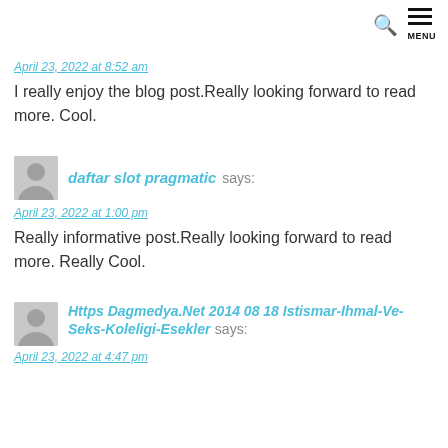MENU
April 23, 2022 at 8:52 am
I really enjoy the blog post.Really looking forward to read more. Cool.
daftar slot pragmatic says:
April 23, 2022 at 1:00 pm
Really informative post.Really looking forward to read more. Really Cool.
Https Dagmedya.Net 2014 08 18 Istismar-Ihmal-Ve-Seks-Koleligi-Esekler says:
April 23, 2022 at 4:47 pm